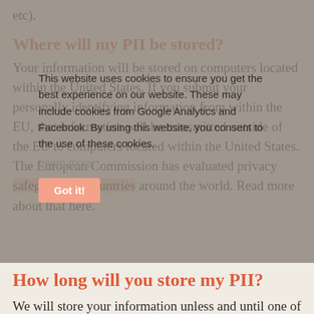etc).
Where will my PII be stored?
Your information will be stored on computers located within the United States. If you submit your personally identifying information from within the EU, that information will be transmitted outside of the EU to computers located within the United States. The European Commission has evaluated privacy safeguards in countries around the world. Read more about that here.
This website uses cookies to ensure you get the best experience on our website. These may include cookies from Google Analytics and Facebook. By using this website, you consent to the use of these cookies.
Learn more
Got it!
How long will you store my PII?
We will store your information unless and until one of two conditions is met:
Purpose Campaigns LLC ceases to exist as a legal entity
You withdraw your consent for the use and storage of